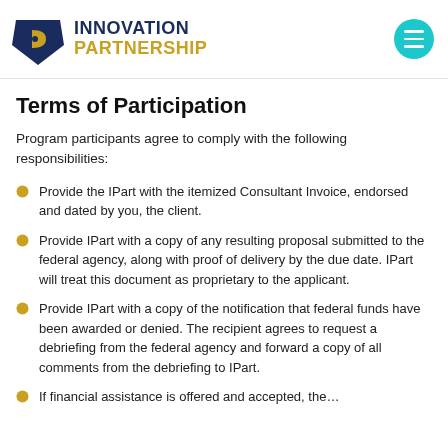[Figure (logo): Innovation Partnership logo with keystone icon and teal menu button]
Terms of Participation
Program participants agree to comply with the following responsibilities:
Provide the IPart with the itemized Consultant Invoice, endorsed and dated by you, the client.
Provide IPart with a copy of any resulting proposal submitted to the federal agency, along with proof of delivery by the due date. IPart will treat this document as proprietary to the applicant.
Provide IPart with a copy of the notification that federal funds have been awarded or denied. The recipient agrees to request a debriefing from the federal agency and forward a copy of all comments from the debriefing to IPart.
If financial assistance is offered and accepted, the...